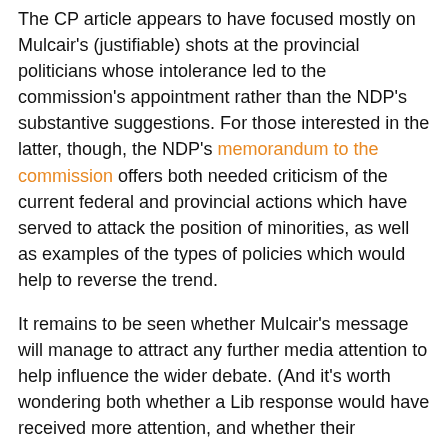The CP article appears to have focused mostly on Mulcair's (justifiable) shots at the provincial politicians whose intolerance led to the commission's appointment rather than the NDP's substantive suggestions. For those interested in the latter, though, the NDP's memorandum to the commission offers both needed criticism of the current federal and provincial actions which have served to attack the position of minorities, as well as examples of the types of policies which would help to reverse the trend.
It remains to be seen whether Mulcair's message will manage to attract any further media attention to help influence the wider debate. (And it's worth wondering both whether a Lib response would have received more attention, and whether their apparent decision to take a pass will hurt the cause of multiculturalism.)
But whether or not the NDP's submission receives the media attention it deserves, it's still worth highlighting that at least one federal party was ready and willing to stand up for diversity. And hopefully that courage won't go unrewarded.